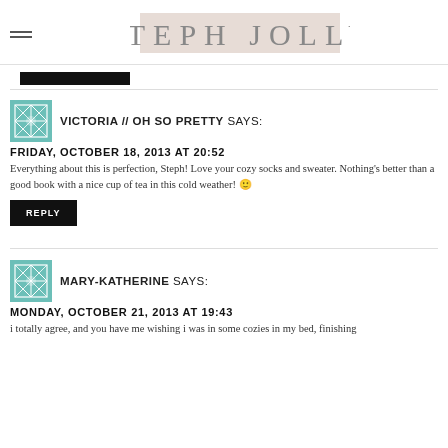STEPH JOLLY
[Figure (other): Black redacted/blocked bar]
VICTORIA // OH SO PRETTY SAYS:
FRIDAY, OCTOBER 18, 2013 AT 20:52
Everything about this is perfection, Steph! Love your cozy socks and sweater. Nothing's better than a good book with a nice cup of tea in this cold weather! 🙂
REPLY
MARY-KATHERINE SAYS:
MONDAY, OCTOBER 21, 2013 AT 19:43
i totally agree, and you have me wishing i was in some cozies in my bed, finishing